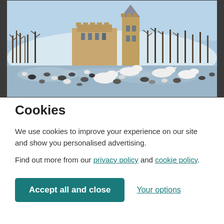[Figure (photo): Winter photograph showing a castle on a snow-covered hill with bare trees, and a frozen loch or lake in the foreground filled with swans, ducks, seagulls and other waterfowl.]
Cookies
We use cookies to improve your experience on our site and show you personalised advertising.
Find out more from our privacy policy and cookie policy.
Accept all and close   Your options